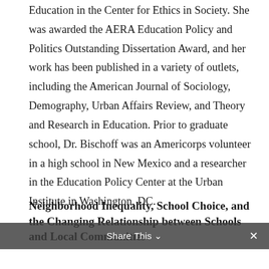Education in the Center for Ethics in Society. She was awarded the AERA Education Policy and Politics Outstanding Dissertation Award, and her work has been published in a variety of outlets, including the American Journal of Sociology, Demography, Urban Affairs Review, and Theory and Research in Education. Prior to graduate school, Dr. Bischoff was an Americorps volunteer in a high school in New Mexico and a researcher in the Education Policy Center at the Urban Institute in Washington, DC.
Neighborhood Inequality, School Choice, and the Changing Relationship between Schools and Local Communities